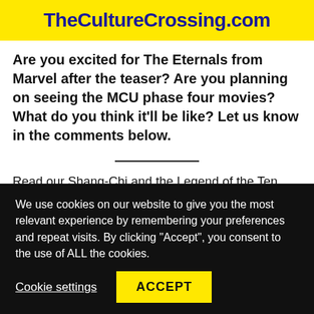TheCultureCrossing.com
Are you excited for The Eternals from Marvel after the teaser? Are you planning on seeing the MCU phase four movies? What do you think it'll be like? Let us know in the comments below.
Read our Shang-Chi and the Legend of the Ten Rings Trailer article HERE.
We use cookies on our website to give you the most relevant experience by remembering your preferences and repeat visits. By clicking "Accept", you consent to the use of ALL the cookies.